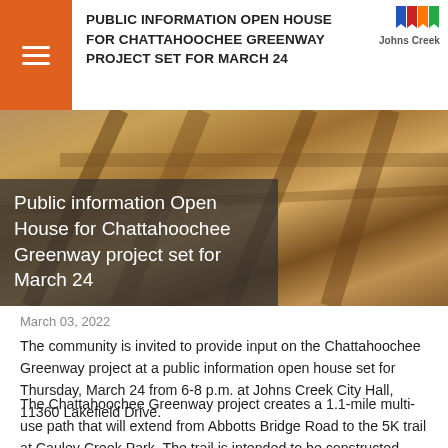PUBLIC INFORMATION OPEN HOUSE FOR CHATTAHOOCHEE GREENWAY PROJECT SET FOR MARCH 24
[Figure (photo): Hero image showing wooden structural beams/pavilion at a park or outdoor area, overlaid with a semi-transparent dark box containing the article title.]
Public information Open House for Chattahoochee Greenway project set for March 24
March 03, 2022
The community is invited to provide input on the Chattahoochee Greenway project at a public information open house set for Thursday, March 24 from 6-8 p.m. at Johns Creek City Hall, 11360 Lakefield Drive.
The Chattahoochee Greenway project creates a 1.1-mile multi-use path that will extend from Abbotts Bridge Road to the 5K trail at Cauley Creek Park. The trail is intended to be constructed within property owned by the National Park Service, mostly on an existing